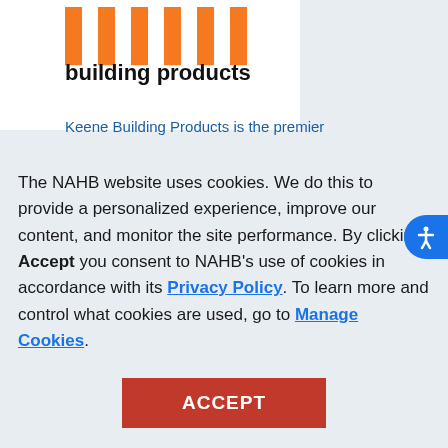[Figure (logo): Keene building products logo — partial orange and black stylized letters at top, bold black text 'building products' below]
Keene Building Products is the premier
The NAHB website uses cookies. We do this to provide a personalized experience, improve our content, and monitor the site performance. By clicking Accept you consent to NAHB's use of cookies in accordance with its Privacy Policy. To learn more and control what cookies are used, go to Manage Cookies.